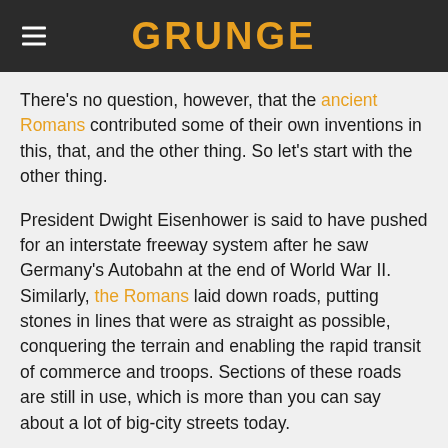GRUNGE
There's no question, however, that the ancient Romans contributed some of their own inventions in this, that, and the other thing. So let's start with the other thing.
President Dwight Eisenhower is said to have pushed for an interstate freeway system after he saw Germany's Autobahn at the end of World War II. Similarly, the Romans laid down roads, putting stones in lines that were as straight as possible, conquering the terrain and enabling the rapid transit of commerce and troops. Sections of these roads are still in use, which is more than you can say about a lot of big-city streets today.